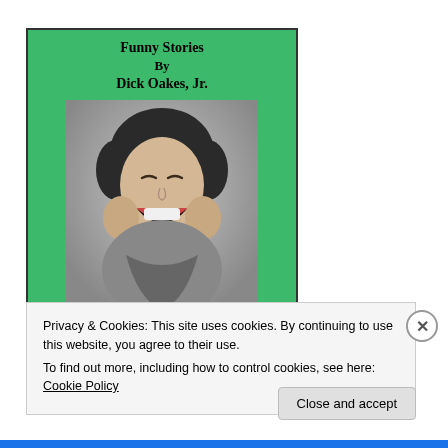[Figure (illustration): Book cover on green background with title 'Funny Stories By Dick Oakes, Jr.' and a grayscale photo of a laughing woman with hands on her cheeks]
Privacy & Cookies: This site uses cookies. By continuing to use this website, you agree to their use.
To find out more, including how to control cookies, see here: Cookie Policy